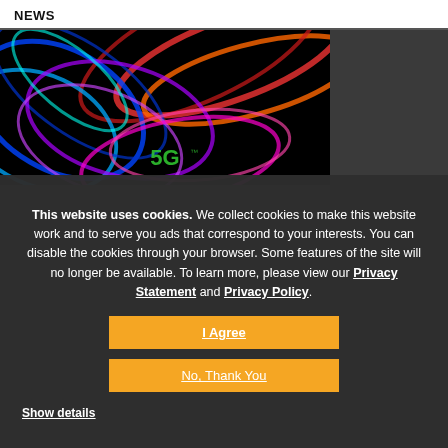NEWS
[Figure (photo): Colorful light trails forming swirling patterns on a black background, with a logo partially visible at the bottom center]
This website uses cookies. We collect cookies to make this website work and to serve you ads that correspond to your interests. You can disable the cookies through your browser. Some features of the site will no longer be available. To learn more, please view our Privacy Statement and Privacy Policy.
I Agree
No, Thank You
Show details